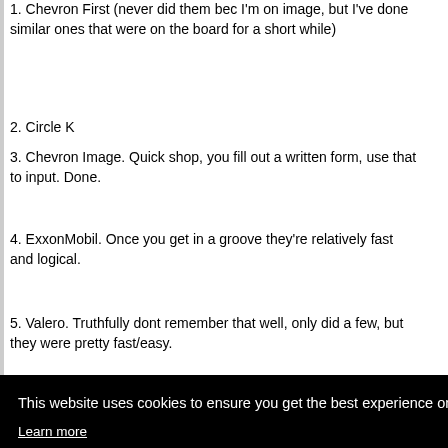1. Chevron First (never did them bec I'm on image, but I've done similar ones that were on the board for a short while)
2. Circle K
3. Chevron Image. Quick shop, you fill out a written form, use that to input. Done.
4. ExxonMobil. Once you get in a groove they're relatively fast and logical.
5. Valero. Truthfully dont remember that well, only did a few, but they were pretty fast/easy.
[Figure (screenshot): Cookie consent overlay on a black background. Text reads 'This website uses cookies to ensure you get the best experience on our website.' with a 'Learn more' underlined link and a yellow 'Got it!' button. Partially visible text on the right side behind the overlay reads 'his up', 'can', 'ervice', 's', 'ifficult.']
.